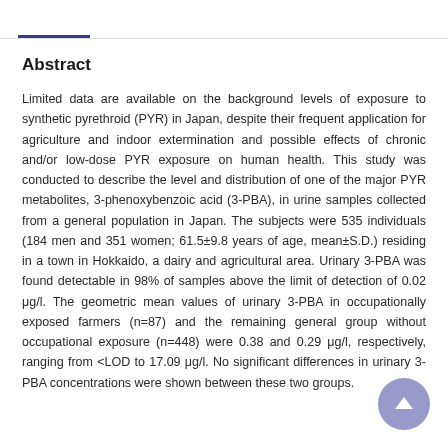Abstract
Limited data are available on the background levels of exposure to synthetic pyrethroid (PYR) in Japan, despite their frequent application for agriculture and indoor extermination and possible effects of chronic and/or low-dose PYR exposure on human health. This study was conducted to describe the level and distribution of one of the major PYR metabolites, 3-phenoxybenzoic acid (3-PBA), in urine samples collected from a general population in Japan. The subjects were 535 individuals (184 men and 351 women; 61.5±9.8 years of age, mean±S.D.) residing in a town in Hokkaido, a dairy and agricultural area. Urinary 3-PBA was found detectable in 98% of samples above the limit of detection of 0.02 μg/l. The geometric mean values of urinary 3-PBA in occupationally exposed farmers (n=87) and the remaining general group without occupational exposure (n=448) were 0.38 and 0.29 μg/l, respectively, ranging from <LOD to 17.09 μg/l. No significant differences in urinary 3-PBA concentrations were shown between these two groups.